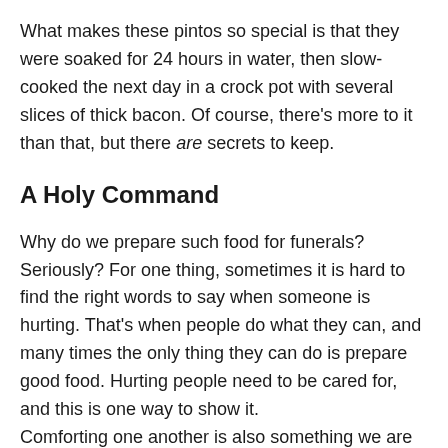What makes these pintos so special is that they were soaked for 24 hours in water, then slow-cooked the next day in a crock pot with several slices of thick bacon. Of course, there's more to it than that, but there are secrets to keep.
A Holy Command
Why do we prepare such food for funerals? Seriously? For one thing, sometimes it is hard to find the right words to say when someone is hurting. That's when people do what they can, and many times the only thing they can do is prepare good food. Hurting people need to be cared for, and this is one way to show it.
Comforting one another is also something we are commanded to do. 1Thessalonians 5:11 tells us to